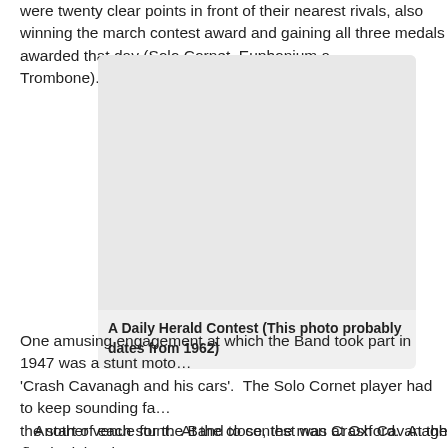were twenty clear points in front of their nearest rivals, also winning the march contest award and gaining all three medals awarded that day (Solo Cornet, Euphonium and Trombone).
[Figure (photo): A black and white photograph from a Daily Herald Contest, probably dating from 1962. Shows a band or group at a contest.]
A Daily Herald Contest (This photo probably dates from 1962)
One amusing engagement at which the Band took part in 1947 was a stunt motorcyclist 'Crash Cavanagh and his cars'. The Solo Cornet player had to keep sounding fanfares before the start of each stunt. At the close, the man Crash Cavanagh thanked the members very much, and that was all the band were paid for the job! Sometime later, we found that the show had in fact gone bankrupt.
Another venue for the Band to contest was at Oxford. At the first attempt they w